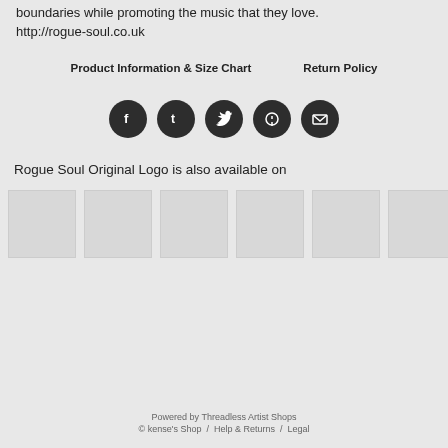boundaries while promoting the music that they love.
http://rogue-soul.co.uk
Product Information & Size Chart     Return Policy
[Figure (infographic): Row of 5 social media icons (Facebook, Tumblr, Twitter, Pinterest, Email) as dark circular buttons]
Rogue Soul Original Logo is also available on
[Figure (infographic): Row of 6 product thumbnail placeholder boxes (light gray rectangles)]
Powered by Threadless Artist Shops
© kense's Shop  /  Help & Returns  /  Legal